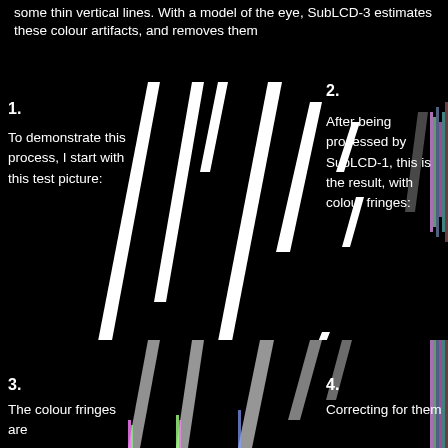some thin vertical lines. With a model of the eye, SubLCD-3 estimates these colour artifacts, and removes them
[Figure (photo): Black background image showing white diagonal streak lines (test picture for SubLCD processing demonstration)]
1.
To demonstrate this process, I start with this test picture:
2.
After being processed by SubLCD-1, this is the result, with colour fringes:
[Figure (photo): Black background image with greyscale diagonal streaks processed by SubLCD-1, showing colour fringes along the edges]
3.
The colour fringes are
4.
Correcting for them